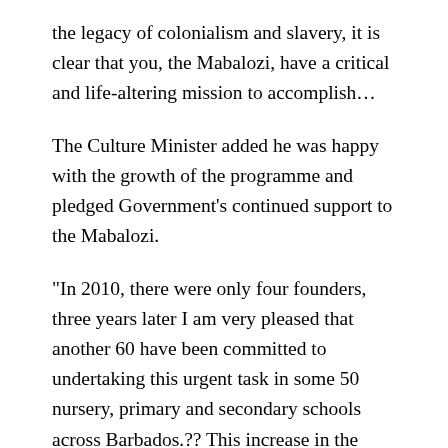the legacy of colonialism and slavery, it is clear that you, the Mabalozi, have a critical and life-altering mission to accomplish…
The Culture Minister added he was happy with the growth of the programme and pledged Government's continued support to the Mabalozi.
"In 2010, there were only four founders, three years later I am very pleased that another 60 have been committed to undertaking this urgent task in some 50 nursery, primary and secondary schools across Barbados.?? This increase in the interest in the work of the Mabalozi should not only be applauded, but it is an indication of an awakening of the consciousness that we need to have in Barbados," he